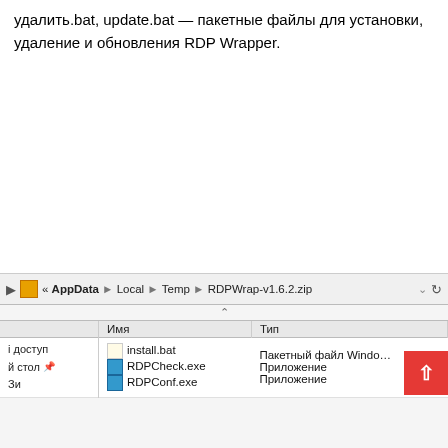удалить.bat, update.bat — пакетные файлы для установки, удаление и обновления RDP Wrapper.
[Figure (screenshot): Windows Explorer window showing contents of RDPWrap-v1.6.2.zip in AppData/Local/Temp, with files install.bat, RDPCheck.exe, RDPConf.exe listed with their types]